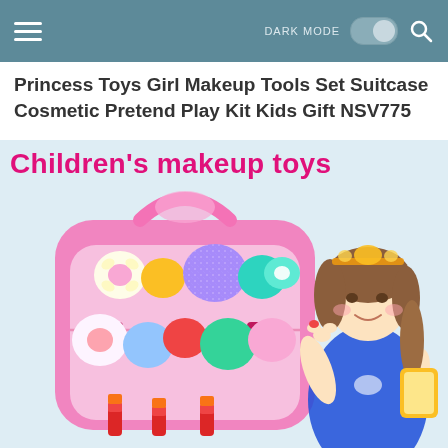DARK MODE [toggle] [search]
Princess Toys Girl Makeup Tools Set Suitcase Cosmetic Pretend Play Kit Kids Gift NSV775
[Figure (photo): Children's makeup toy suitcase kit with colorful eyeshadows and lip colors in a pink case, with a young girl in a denim outfit and tiara headband applying makeup]
Children's makeup toys